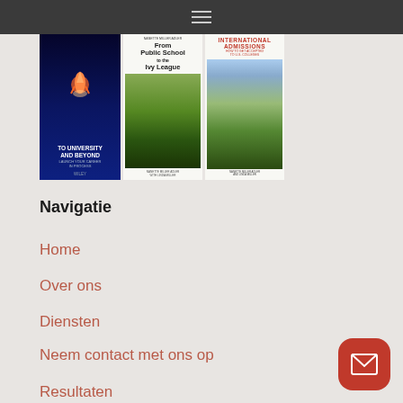[Figure (illustration): Three book covers: 'To University and Beyond', 'From Public School to the Ivy League', and 'International Admissions: How to Get Accepted to U.S. Colleges']
Navigatie
Home
Over ons
Diensten
Neem contact met ons op
Resultaten